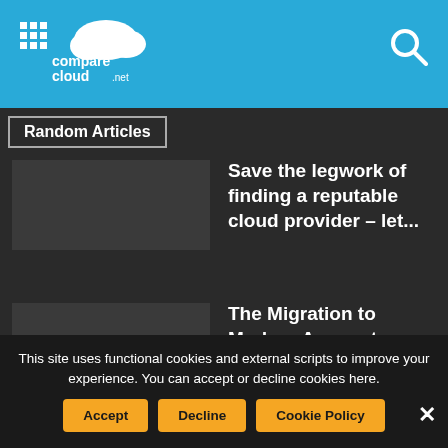comparecloud.net
Random Articles
Save the legwork of finding a reputable cloud provider – let...
The Migration to Modern Account Security is Under Way... Finally
Cloud migrations – Costly, Risky or Neither?
This site uses functional cookies and external scripts to improve your experience. You can accept or decline cookies here.